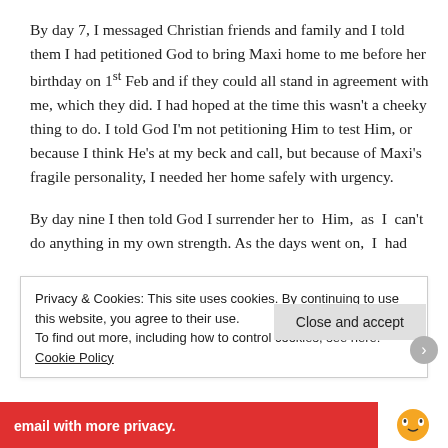By day 7, I messaged Christian friends and family and I told them I had petitioned God to bring Maxi home to me before her birthday on 1st Feb and if they could all stand in agreement with me, which they did. I had hoped at the time this wasn't a cheeky thing to do. I told God I'm not petitioning Him to test Him, or because I think He's at my beck and call, but because of Maxi's fragile personality, I needed her home safely with urgency.
By day nine I then told God I surrender her to Him, as I can't do anything in my own strength. As the days went on, I had
Privacy & Cookies: This site uses cookies. By continuing to use this website, you agree to their use.
To find out more, including how to control cookies, see here: Cookie Policy
Close and accept
email with more privacy.